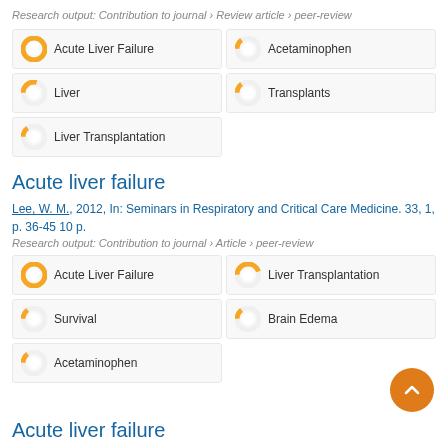Research output: Contribution to journal › Review article › peer-review
[Figure (infographic): Keyword badges with donut chart icons: Acute Liver Failure (100%), Acetaminophen (~15%), Liver (~30%), Transplants (~15%), Liver Transplantation (~15%)]
Acute liver failure
Lee, W. M., 2012, In: Seminars in Respiratory and Critical Care Medicine. 33, 1, p. 36-45 10 p.
Research output: Contribution to journal › Article › peer-review
[Figure (infographic): Keyword badges with donut chart icons: Acute Liver Failure (100%), Liver Transplantation (~45%), Survival (~15%), Brain Edema (~15%), Acetaminophen (~15%)]
Acute liver failure